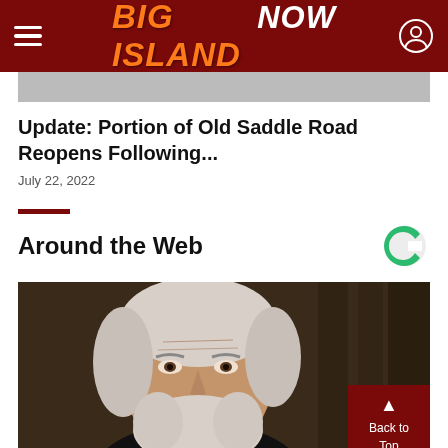Big Island Now
[Figure (photo): Partial article thumbnail image (gray/light background)]
Update: Portion of Old Saddle Road Reopens Following...
July 22, 2022
Around the Web
[Figure (photo): Portrait photo of an elderly man with white hair and beard, dark moody background]
Back to Top